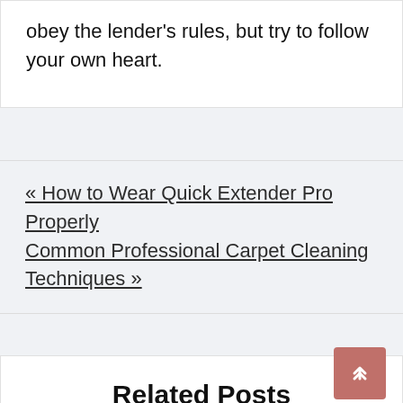obey the lender's rules, but try to follow your own heart.
« How to Wear Quick Extender Pro Properly Common Professional Carpet Cleaning Techniques »
Related Posts